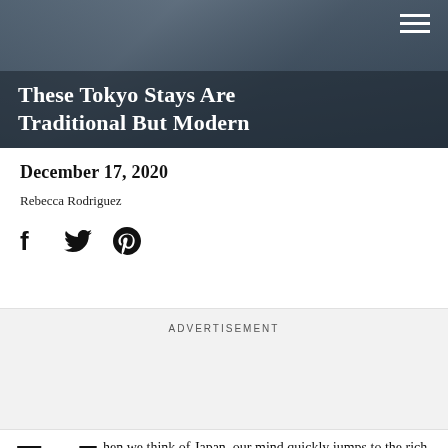[Figure (photo): Hero image showing hands near a window, dark overlay with hamburger menu icon in top right]
These Tokyo Stays Are Traditional But Modern
December 17, 2020
Rebecca Rodriguez
[Figure (illustration): Social share icons: Facebook, Twitter, Pinterest]
ADVERTISEMENT
When we think of Japan, our mind quickly jumps to the rich and fascinating Japanese culture which